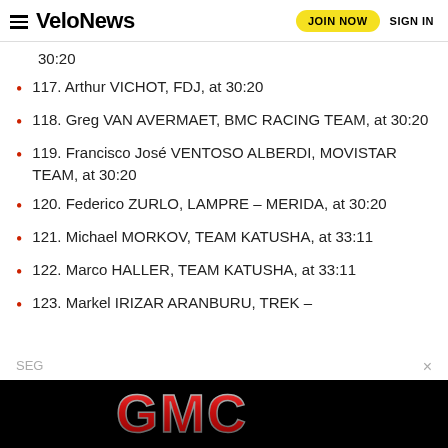VeloNews | JOIN NOW | SIGN IN
30:20
117. Arthur VICHOT, FDJ, at 30:20
118. Greg VAN AVERMAET, BMC RACING TEAM, at 30:20
119. Francisco José VENTOSO ALBERDI, MOVISTAR TEAM, at 30:20
120. Federico ZURLO, LAMPRE – MERIDA, at 30:20
121. Michael MORKOV, TEAM KATUSHA, at 33:11
122. Marco HALLER, TEAM KATUSHA, at 33:11
123. Markel IRIZAR ARANBURU, TREK –
[Figure (logo): GMC advertisement banner with red 3D GMC lettering on black background]